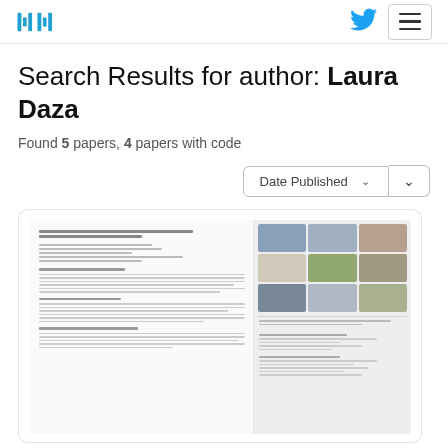Papers With Code - Search Results for author: Laura Daza
Search Results for author: Laura Daza
Found 5 papers, 4 papers with code
[Figure (screenshot): Thumbnail preview of an academic paper about video frame transformers for egocentric video understanding at ActivityNet challenge, showing a multi-column paper layout on the left and a grid of video frame images on the right.]